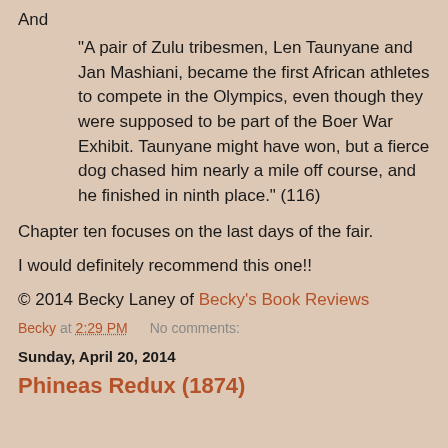And
"A pair of Zulu tribesmen, Len Taunyane and Jan Mashiani, became the first African athletes to compete in the Olympics, even though they were supposed to be part of the Boer War Exhibit. Taunyane might have won, but a fierce dog chased him nearly a mile off course, and he finished in ninth place." (116)
Chapter ten focuses on the last days of the fair.
I would definitely recommend this one!!
© 2014 Becky Laney of Becky's Book Reviews
Becky at 2:29 PM   No comments:
Sunday, April 20, 2014
Phineas Redux (1874)